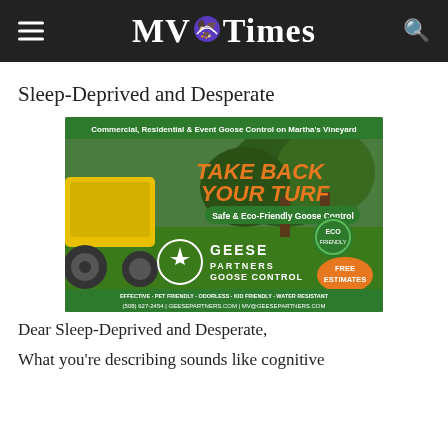MV Times
Sleep-Deprived and Desperate
[Figure (photo): Advertisement for Geese Partners Goose Control showing a lawn maintenance vehicle on green grass with trees. Text reads: 'Commercial, Residential & Event Goose Control on Martha's Vineyard', 'TAKE BACK YOUR TURF', 'Safe & Eco-Friendly Goose Control', 'GEESE PARTNERS GOOSE CONTROL', 'ECO FRIENDLY', 'FREE ESTIMATES', 'EFFECTIVE · PET FRIENDLY · ODORLESS · KID FRIENDLY · WATER RESISTANT', '(508) 627-2454 | GEESEPARTNERS.COM | MV@GEESEPARTNERS.COM']
Dear Sleep-Deprived and Desperate,
What you're describing sounds like cognitive